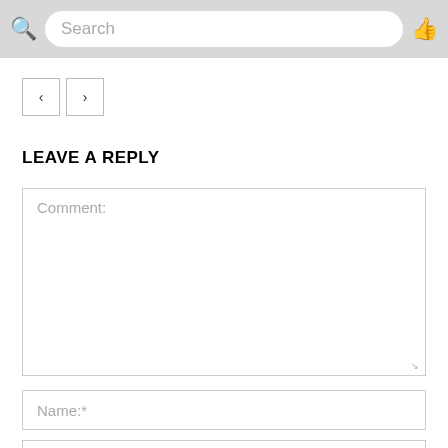Search
[Figure (screenshot): Navigation back and forward arrow buttons]
LEAVE A REPLY
Comment:
Name:*
Email:*